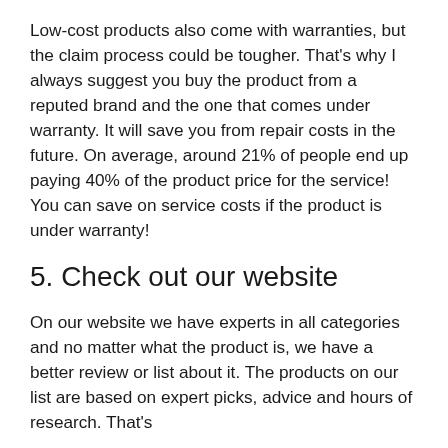Low-cost products also come with warranties, but the claim process could be tougher. That's why I always suggest you buy the product from a reputed brand and the one that comes under warranty. It will save you from repair costs in the future. On average, around 21% of people end up paying 40% of the product price for the service! You can save on service costs if the product is under warranty!
5. Check out our website
On our website we have experts in all categories and no matter what the product is, we have a better review or list about it. The products on our list are based on expert picks, advice and hours of research. That's